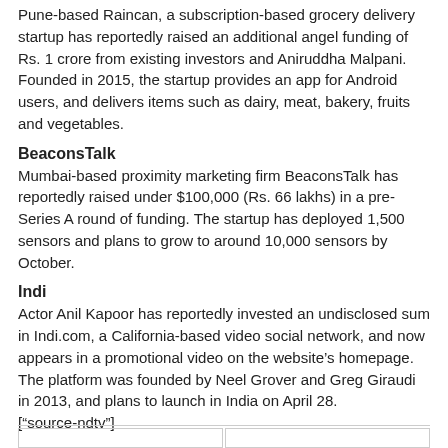Pune-based Raincan, a subscription-based grocery delivery startup has reportedly raised an additional angel funding of Rs. 1 crore from existing investors and Aniruddha Malpani. Founded in 2015, the startup provides an app for Android users, and delivers items such as dairy, meat, bakery, fruits and vegetables.
BeaconsTalk
Mumbai-based proximity marketing firm BeaconsTalk has reportedly raised under $100,000 (Rs. 66 lakhs) in a pre-Series A round of funding. The startup has deployed 1,500 sensors and plans to grow to around 10,000 sensors by October.
Indi
Actor Anil Kapoor has reportedly invested an undisclosed sum in Indi.com, a California-based video social network, and now appears in a promotional video on the website's homepage. The platform was founded by Neel Grover and Greg Giraudi in 2013, and plans to launch in India on April 28.
["source-ndtv"]